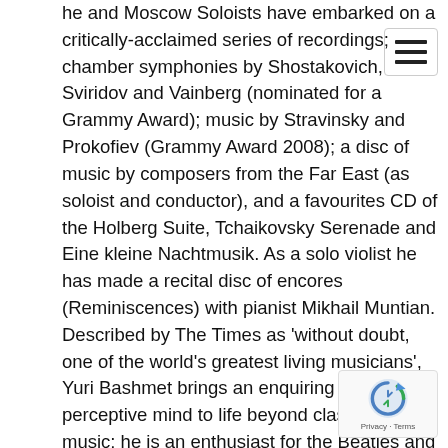he and Moscow Soloists have embarked on a critically-acclaimed series of recordings; chamber symphonies by Shostakovich, Sviridov and Vainberg (nominated for a Grammy Award); music by Stravinsky and Prokofiev (Grammy Award 2008); a disc of music by composers from the Far East (as soloist and conductor), and a favourites CD of the Holberg Suite, Tchaikovsky Serenade and Eine kleine Nachtmusik. As a solo violist he has made a recital disc of encores (Reminiscences) with pianist Mikhail Muntian. Described by The Times as 'without doubt, one of the world's greatest living musicians', Yuri Bashmet brings an enquiring and perceptive mind to life beyond classical music; he is an enthusiast for the Beatles and Jimi Hendrix and has hosted his own political discussion show on Russian television.
[Figure (other): Hamburger menu icon (three horizontal lines) in a rounded rectangle]
[Figure (other): Google reCAPTCHA badge with logo and Privacy - Terms text]